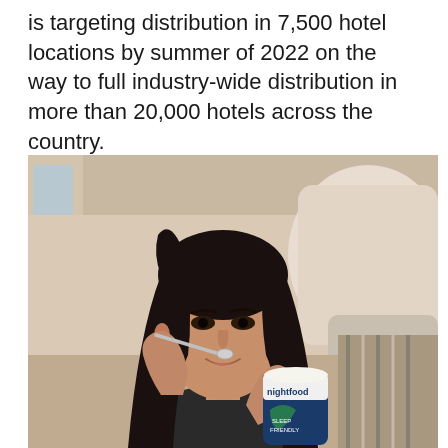is targeting distribution in 7,500 hotel locations by summer of 2022 on the way to full industry-wide distribution in more than 20,000 hotels across the country.
[Figure (photo): A woman with long black hair sitting on a couch with pillows, eating from a cup with a spoon, holding a Nightfood branded ice cream cup. She is smiling and looks relaxed in a hotel-room setting.]